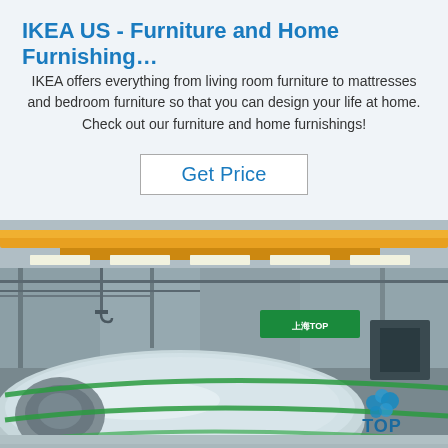IKEA US - Furniture and Home Furnishing…
IKEA offers everything from living room furniture to mattresses and bedroom furniture so that you can design your life at home. Check out our furniture and home furnishings!
Get Price
[Figure (photo): Industrial warehouse interior with large rolls of aluminum/steel coil on the floor, overhead yellow crane structure, fluorescent lighting, and a company logo 'TOP' in the bottom right corner with blue water-drop icon]